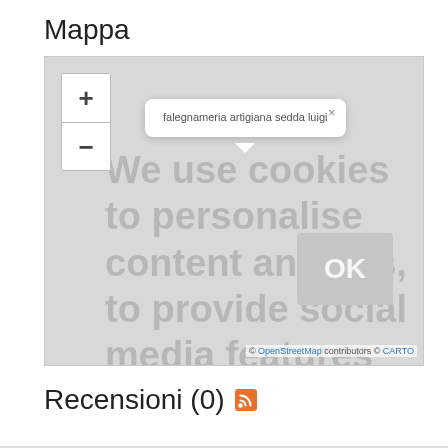Mappa
[Figure (map): Interactive map showing location of 'falegnameria artigiana sedda luigi' with zoom controls, a popup tooltip, cookie consent overlay text, and OpenStreetMap/CARTO attribution.]
Recensioni (0)